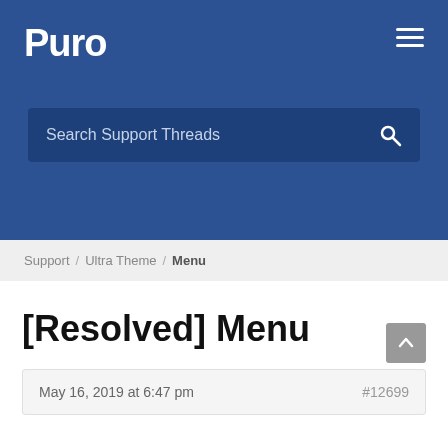Puro
Search Support Threads
Support / Ultra Theme / Menu
[Resolved] Menu
May 16, 2019 at 6:47 pm   #12699